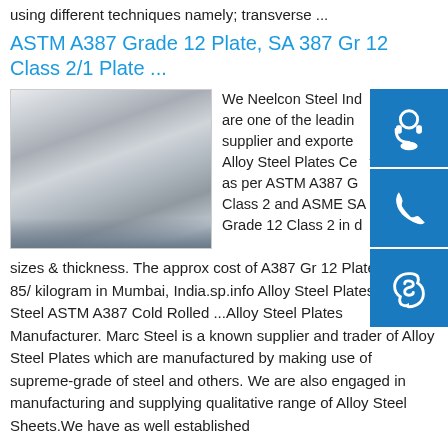using different techniques namely; transverse ...
ASTM A387 Grade 12 Plate, SA 387 Gr 12 Class 2/1 Plate ...
[Figure (photo): Photo of ASTM A387 Grade 12 steel plate stacked in a warehouse]
We Neelcon Steel Industries are one of the leading supplier and exporter of Alloy Steel Plates Certified as per ASTM A387 Grade 12 Class 2 and ASME SA387 Grade 12 Class 2 in different sizes & thickness. The approx cost of A387 Gr 12 Plate is INR 85/ kilogram in Mumbai, India.sp.info Alloy Steel Plates, Alloy Steel ASTM A387 Cold Rolled ...Alloy Steel Plates Manufacturer. Marc Steel is a known supplier and trader of Alloy Steel Plates which are manufactured by making use of supreme-grade of steel and others. We are also engaged in manufacturing and supplying qualitative range of Alloy Steel Sheets.We have as well established